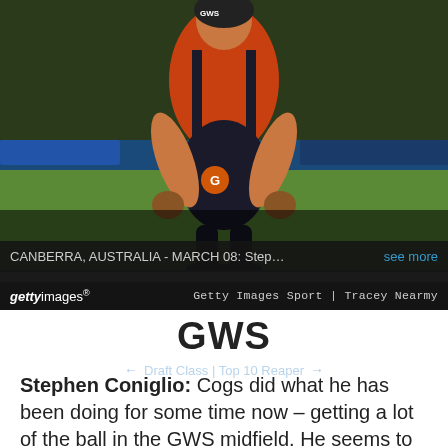[Figure (photo): Australian rules football player Stephen Coniglio of GWS Giants bent over on the field during a match in Canberra, Australia, March 08. Player is wearing orange, black and white uniform.]
CANBERRA, AUSTRALIA - MARCH 08: Stephen Coni... see more
gettyimages Getty Images Sport | Tracey Nearmy
GWS
Stephen Coniglio: Cogs did what he has been doing for some time now – getting a lot of the ball in the GWS midfield. He seems to be their main ball winner